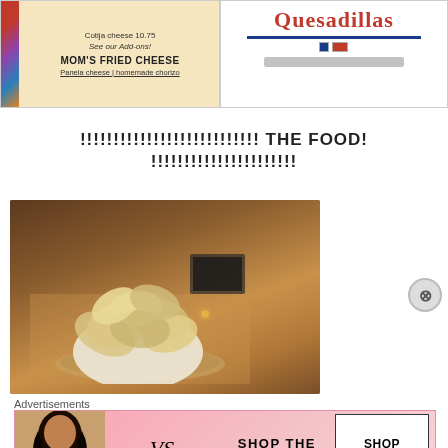[Figure (screenshot): Screenshot of a restaurant menu showing 'Cotija cheese 10.75', 'See our Add-ons!', 'MOM'S FRIED CHEESE', 'Panela cheese | homemade chorizo']
[Figure (screenshot): Screenshot showing 'Quesadillas' in red cursive font with blue underline and decorative elements]
!!!!!!!!!!!!!!!!!!!!!!!!!!! THE FOOD! !!!!!!!!!!!!!!!!!!!!!!!!
[Figure (photo): Photo of a basket/bowl of tortilla chips on a wooden table in a restaurant setting]
Advertisements
[Figure (screenshot): Victoria's Secret advertisement: SHOP THE COLLECTION with SHOP NOW button]